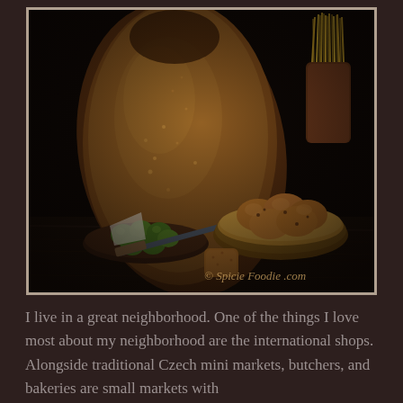[Figure (photo): Dark moody food photograph showing a large rustic artisan bread loaf, a wooden plate with green olives, a bowl of small baked rolls/cookies, a small biscuit in the foreground, and a container of pasta sticks in the background. Watermark reads '© Spicie Foodie .com'. Photo has white border.]
I live in a great neighborhood. One of the things I love most about my neighborhood are the international shops. Alongside traditional Czech mini markets, butchers, and bakeries are small markets with